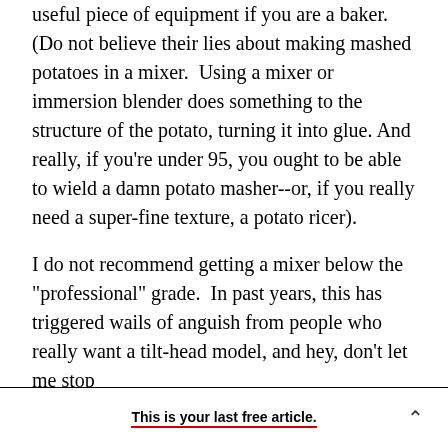useful piece of equipment if you are a baker. (Do not believe their lies about making mashed potatoes in a mixer. Using a mixer or immersion blender does something to the structure of the potato, turning it into glue. And really, if you're under 95, you ought to be able to wield a damn potato masher--or, if you really need a super-fine texture, a potato ricer).
I do not recommend getting a mixer below the "professional" grade. In past years, this has triggered wails of anguish from people who really want a tilt-head model, and hey, don't let me stop
This is your last free article.